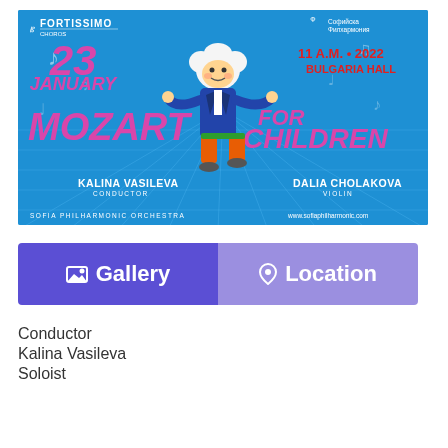[Figure (illustration): Concert poster for Mozart for Children on 23 January, 11 AM, 2022, Bulgaria Hall. Features a cartoon Mozart figure dancing, Sofia Philharmonic Orchestra. Conductors: Kalina Vasileva, Violin: Dalia Cholakova. Blue background with musical notes. Logos: Fortissimo and Sofia Philharmonic.]
Gallery
Location
Conductor
Kalina Vasileva
Soloist